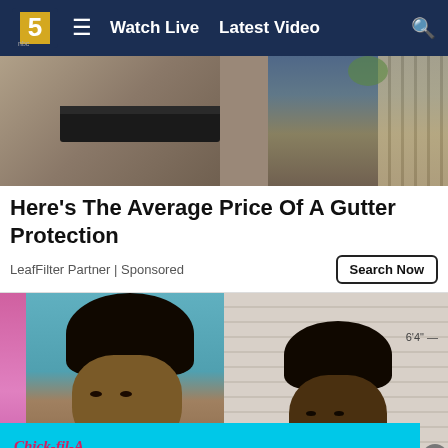Watch Live  Latest Video
[Figure (photo): Photo of a gutter protection installation on a roof with a worker and fence in background]
Here's The Average Price Of A Gutter Protection
LeafFilter Partner | Sponsored
[Figure (photo): Two mugshot photos side by side]
[Figure (photo): Chick-fil-A Mid-South advertisement banner]